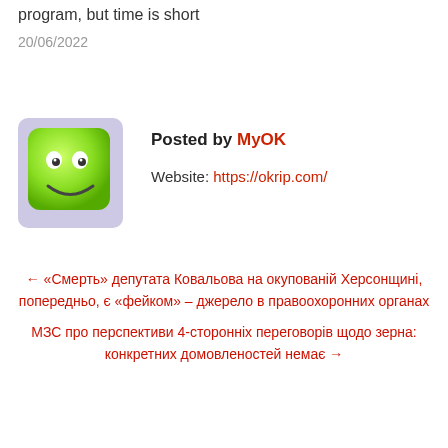program, but time is short
20/06/2022
[Figure (illustration): Green smiley face square avatar with purple shadow background]
Posted by MyOK
Website: https://okrip.com/
← «Смерть» депутата Ковальова на окупованій Херсонщині, попередньо, є «фейком» – джерело в правоохоронних органах
МЗС про перспективи 4-сторонніх переговорів щодо зерна: конкретних домовленостей немає →